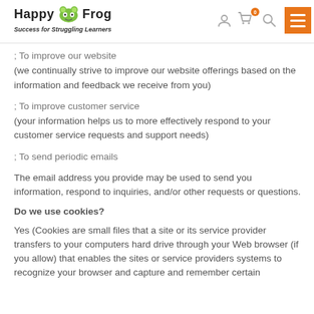Happy Frog — Success for Struggling Learners
; To improve our website (we continually strive to improve our website offerings based on the information and feedback we receive from you)
; To improve customer service (your information helps us to more effectively respond to your customer service requests and support needs)
; To send periodic emails
The email address you provide may be used to send you information, respond to inquiries, and/or other requests or questions.
Do we use cookies?
Yes (Cookies are small files that a site or its service provider transfers to your computers hard drive through your Web browser (if you allow) that enables the sites or service providers systems to recognize your browser and capture and remember certain